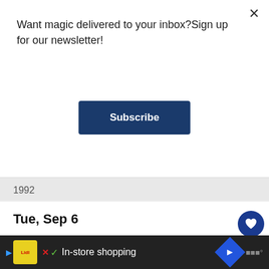Want magic delivered to your inbox?Sign up for our newsletter!
Subscribe
1992
Tue, Sep 6
MuggleNet receives JKR Fansite Award 2004
It's high time I paid homage to the mighty MuggleNet. Where to start? I love the design, (I currently favour the 'Dementor' layout), the polls (I actually voted in the 'W s the Half-Blood Prince?' one), the pretty-much-exhaust information on all books and films, the wonderful edito s (more insight there than in several companion volumes,
In-store shopping